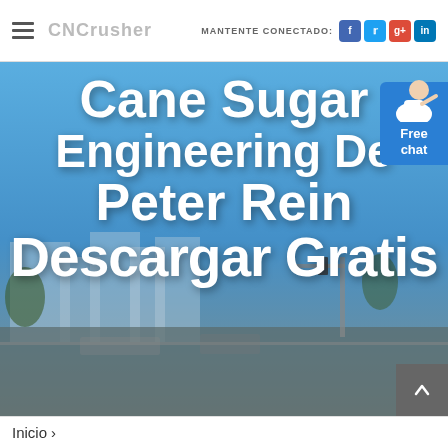CNCrusher — MANTENTE CONECTADO: (social icons: Facebook, Twitter, Google+, LinkedIn)
[Figure (photo): Hero background image of an urban street scene with buildings and traffic lights under a blue sky, overlaid with large white bold text reading 'Cane Sugar Engineering De Peter Rein Descargar Gratis'. A 'Free chat' button widget appears in the top-right corner with a customer service avatar.]
Cane Sugar Engineering De Peter Rein Descargar Gratis
Inicio ›